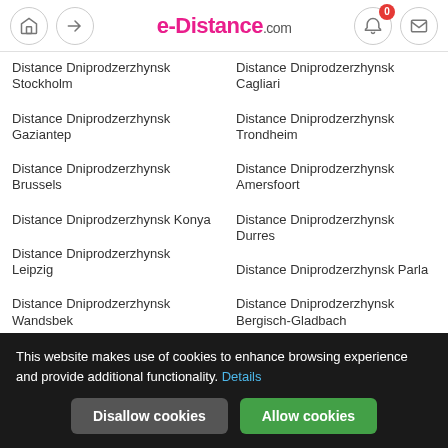e-Distance.com
Distance Dniprodzerzhynsk Stockholm
Distance Dniprodzerzhynsk Gaziantep
Distance Dniprodzerzhynsk Brussels
Distance Dniprodzerzhynsk Konya
Distance Dniprodzerzhynsk Leipzig
Distance Dniprodzerzhynsk Wandsbek
Distance Dniprodzerzhynsk Cagliari
Distance Dniprodzerzhynsk Trondheim
Distance Dniprodzerzhynsk Amersfoort
Distance Dniprodzerzhynsk Durres
Distance Dniprodzerzhynsk Parla
Distance Dniprodzerzhynsk Bergisch-Gladbach
Distance Dniprodzerzhynsk Germany
This website makes use of cookies to enhance browsing experience and provide additional functionality. Details